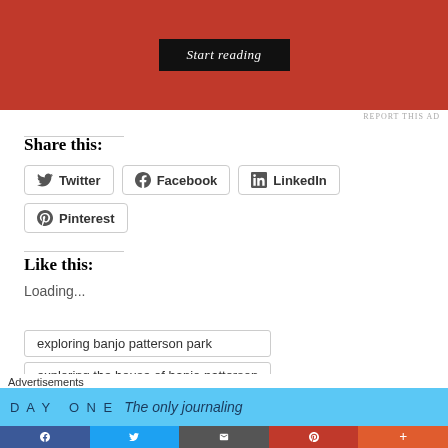[Figure (screenshot): Red advertisement banner with 'Start reading' black button]
REPORT THIS AD
Share this:
Twitter
Facebook
LinkedIn
Pinterest
Like this:
Loading...
exploring banjo patterson park
exploring the house of banjo patterson
famous Aussie writer banjo patterson
Advertisements
[Figure (screenshot): Day One journaling app advertisement banner in blue]
[Figure (screenshot): Bottom social sharing bar with Facebook, Twitter, Email, Pinterest, and More buttons]